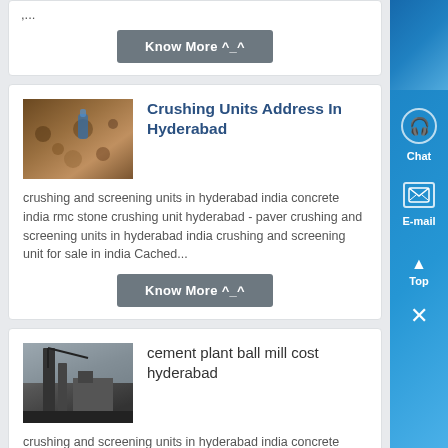,...
Know More ^_^
Crushing Units Address In Hyderabad
[Figure (photo): Photo of crushing/stone materials on a surface]
crushing and screening units in hyderabad india concrete india rmc stone crushing unit hyderabad - paver crushing and screening units in hyderabad india crushing and screening unit for sale in india Cached...
Know More ^_^
cement plant ball mill cost hyderabad
[Figure (photo): Photo of an industrial cement plant with tall structures]
crushing and screening units in hyderabad india concrete india rmc